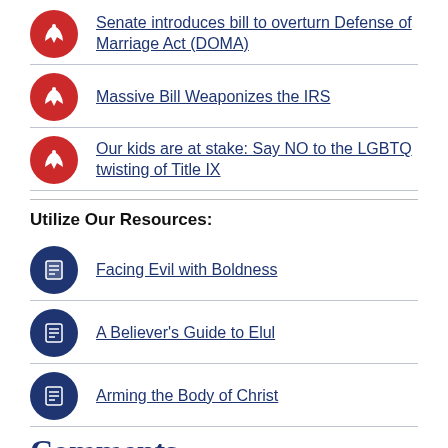Senate introduces bill to overturn Defense of Marriage Act (DOMA)
Massive Bill Weaponizes the IRS
Our kids are at stake: Say NO to the LGBTQ twisting of Title IX
Utilize Our Resources:
Facing Evil with Boldness
A Believer's Guide to Elul
Arming the Body of Christ
Comments